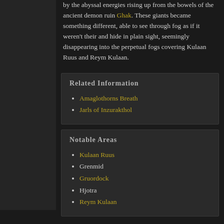by the abyssal energies rising up from the bowels of the ancient demon ruin Ghak. These giants became something different, able to see through fog as if it weren't their and hide in plain sight, seemingly disappearing into the perpetual fogs covering Kulaan Ruus and Reym Kulaan.
Related Information
Amaglothorns Breath
Jarls of Inzurakthol
Notable Areas
Kulaan Ruus
Grenmid
Gruordock
Hjotra
Reym Kulaan